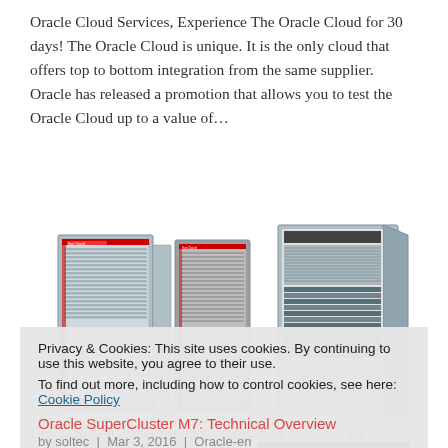Oracle Cloud Services, Experience The Oracle Cloud for 30 days! The Oracle Cloud is unique. It is the only cloud that offers top to bottom integration from the same supplier. Oracle has released a promotion that allows you to test the Oracle Cloud up to a value of...
[Figure (photo): Three Oracle SuperCluster server rack units side by side — two closed racks with Oracle/Sun branding and stylized S logos, and one open rack showing internal components]
Privacy & Cookies: This site uses cookies. By continuing to use this website, you agree to their use. To find out more, including how to control cookies, see here: Cookie Policy
Oracle SuperCluster M7: Technical Overview
by soltec | Mar 3, 2016 | Oracle-en
Oracle SuperCluster product experts take you on a 10